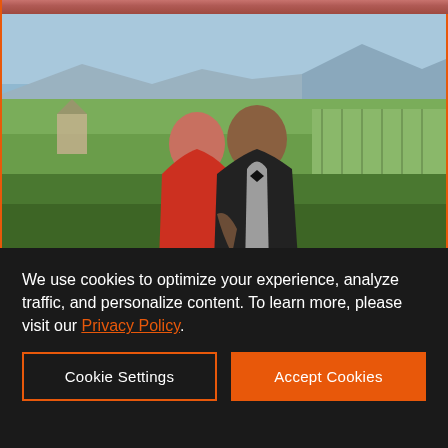[Figure (photo): A couple posing outdoors in a vineyard/wine country landscape. A woman in a red dress stands in front of a man in a black tuxedo with bow tie. Rolling green hills and vineyards visible in background with mountains in distance.]
26 Celebrity Hot Spots in Sonoma and Napa
We use cookies to optimize your experience, analyze traffic, and personalize content. To learn more, please visit our Privacy Policy.